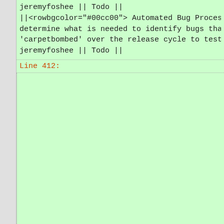jeremyfoshee || Todo ||
||<rowbgcolor="#00cc00"> Automated Bug Processing: determine what is needed to identify bugs that can be 'carpetbombed' over the release cycle to test for fixed issu
jeremyfoshee || Todo ||
Line 412: